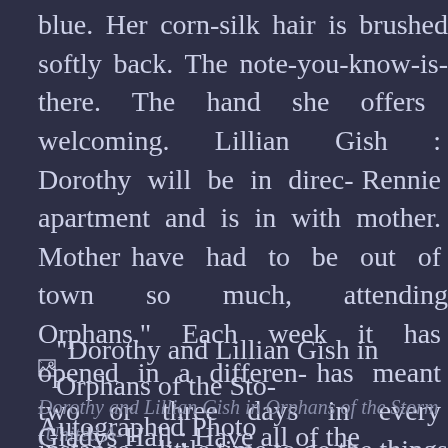blue. Her corn-silk hair is brushed softly back. The note-you-know-is-there. The hand she offers welcoming. Lillian Gish : Dorothy will be in direc- Rennie apartment and is in with mother. Mother have had to be out of town so much, attending Orphans." Each week it has opened in a differen- has meant two or three days in every instance. T- little time to do the things one has to do.
[Figure (photo): Broken image icon followed by text: Dorothy and Lillian Gish in Orphans of the Sto- Autographed Photo]
Dorothy and Lillian Gish in Orphans of the Storm (United A-
Gladys Hall : Have all of the premieres been as en-